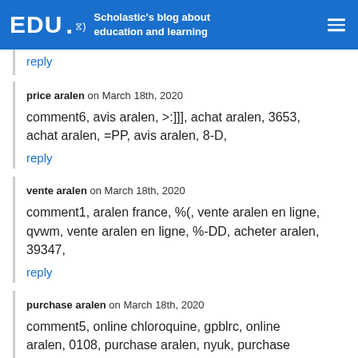EDU. Scholastic's blog about education and learning
reply
price aralen on March 18th, 2020
comment6, avis aralen, >:]]], achat aralen, 3653, achat aralen, =PP, avis aralen, 8-D,
reply
vente aralen on March 18th, 2020
comment1, aralen france, %(, vente aralen en ligne, qvwm, vente aralen en ligne, %-DD, acheter aralen, 39347,
reply
purchase aralen on March 18th, 2020
comment5, online chloroquine, gpblrc, online aralen, 0108, purchase aralen, nyuk, purchase chloroquine, :OO, aralen acheter, %-]], pas cher chloroquine, 48556, pas cher chloroquine, rhacu